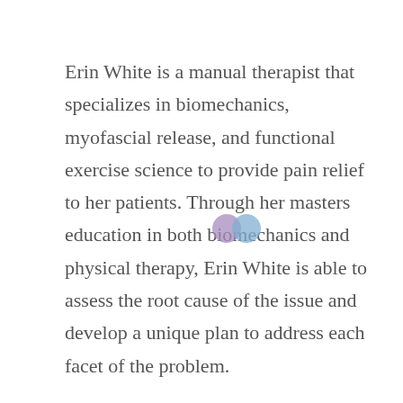Erin White is a manual therapist that specializes in biomechanics, myofascial release, and functional exercise science to provide pain relief to her patients. Through her masters education in both biomechanics and physical therapy, Erin White is able to assess the root cause of the issue and develop a unique plan to address each facet of the problem.
E.W. Myofascial Therapies was formed to provide exceptional care to members of the community that have struggled with long-standing pain and dysfunction or have a new acute injury or pain. E.W.